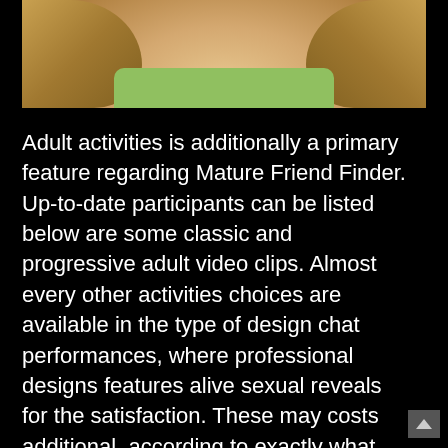[Figure (photo): Cropped photo showing a person with long blonde/brown hair wearing a light green shirt, visible from shoulders up, against a dark background]
Adult activities is additionally a primary feature regarding Mature Friend Finder. Up-to-date participants can be listed below are some classic and progressive adult video clips. Almost every other activities choices are available in the type of design chat performances, where professional designs features alive sexual reveals for the satisfaction. These may costs additional, according to exactly what the model wishes to charge. Gold Participants already receive $10-$25 regarding 100 % free credits getting real time nude design speak into the a beneficial unique render. Users can also explore their adult cams supply shows, and several of them are no-cost.